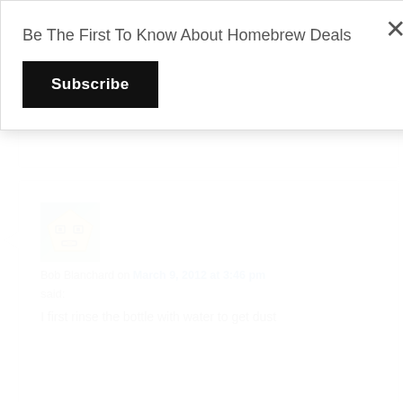Be The First To Know About Homebrew Deals
Subscribe
offer list a dosage of 1 teaspoon per gallon. This is more than sufficient to sanitize wine bottles. If you prefer to us 2 teaspoons, there is absolutely nothing wrong with doing so.
[Figure (illustration): Avatar icon of a cartoon pentagon face with eyes and mouth]
Bob Blanchard on March 9, 2012 at 3:46 pm said:
I first rinse the bottle with water to get dust